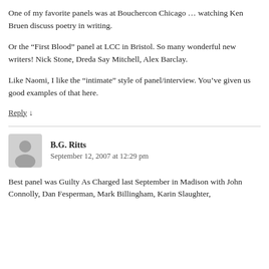One of my favorite panels was at Bouchercon Chicago … watching Ken Bruen discuss poetry in writing.
Or the “First Blood” panel at LCC in Bristol. So many wonderful new writers! Nick Stone, Dreda Say Mitchell, Alex Barclay.
Like Naomi, I like the “intimate” style of panel/interview. You’ve given us good examples of that here.
Reply ↓
B.G. Ritts
September 12, 2007 at 12:29 pm
Best panel was Guilty As Charged last September in Madison with John Connolly, Dan Fesperman, Mark Billingham, Karin Slaughter,